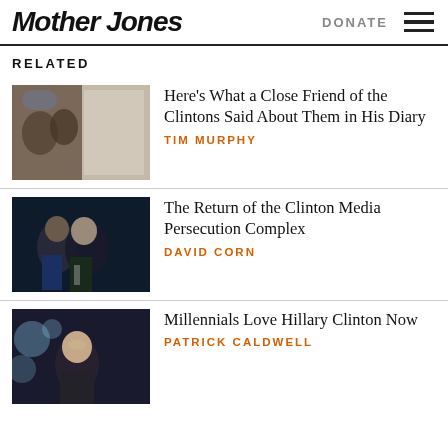Mother Jones | DONATE
RELATED
[Figure (photo): Two men at an event, with a framed document in the background]
Here's What a Close Friend of the Clintons Said About Them in His Diary
TIM MURPHY
[Figure (photo): Bill and Hillary Clinton standing together at an event]
The Return of the Clinton Media Persecution Complex
DAVID CORN
[Figure (photo): Hillary Clinton smiling at an event with bokeh lights in background]
Millennials Love Hillary Clinton Now
PATRICK CALDWELL